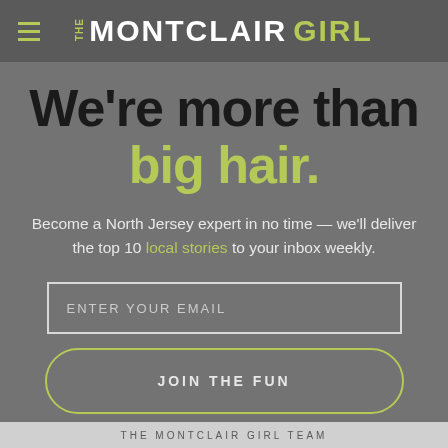THE MONTCLAIR GIRL
We're more than big hair.
Become a North Jersey expert in no time — we'll deliver the top 10 local stories to your inbox weekly.
ENTER YOUR EMAIL
JOIN THE FUN
THE MONTCLAIR GIRL TEAM